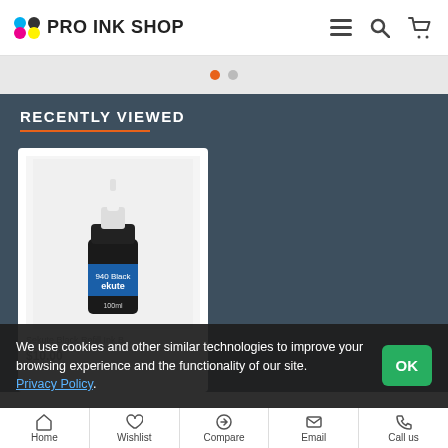PRO INK SHOP
RECENTLY VIEWED
[Figure (photo): A small black ink bottle labeled '940 Black ekute 100ml' with a white dropper tip, on a white background.]
We use cookies and other similar technologies to improve your browsing experience and the functionality of our site. Privacy Policy.
Home | Wishlist | Compare | Email | Call us